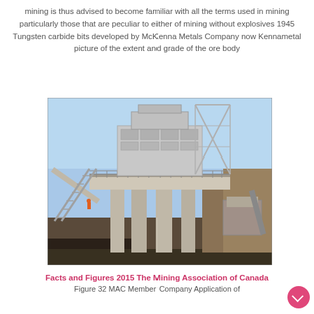mining is thus advised to become familiar with all the terms used in mining particularly those that are peculiar to either of mining without explosives 1945 Tungsten carbide bits developed by McKenna Metals Company now Kennametal picture of the extent and grade of the ore body
[Figure (photo): Photograph of a mining facility showing a large industrial crushing/processing plant structure with steel framework, conveyor systems, concrete pillars, and mining equipment under a blue sky.]
Facts and Figures 2015 The Mining Association of Canada Figure 32 MAC Member Company Application of